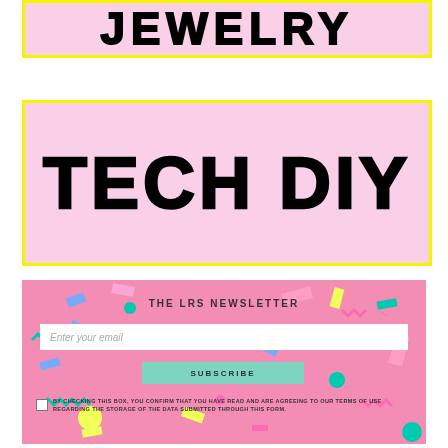JEWELRY
TECH DIY
[Figure (infographic): Newsletter signup box with pink confetti background, email input, subscribe button, and terms checkbox]
THE LRS NEWSLETTER
Enter your email
SUBSCRIBE
BY CHECKING THIS BOX, YOU CONFIRM THAT YOU HAVE READ AND ARE AGREEING TO OUR TERMS OF USE REGARDING THE STORAGE OF THE DATA SUBMITTED THROUGH THIS FORM.